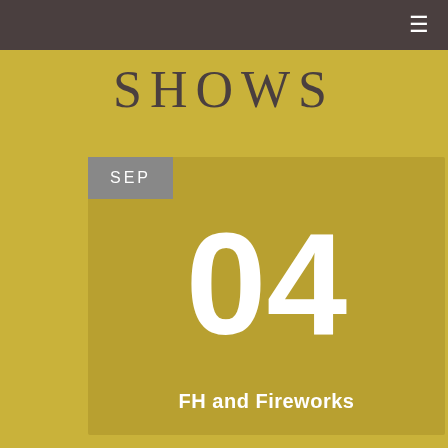≡
SHOWS
SEP
04
FH and Fireworks
SEP
04